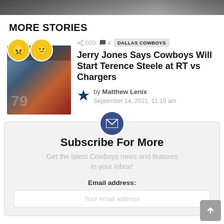[Figure (photo): Top banner image, partially visible, dark toned sports/action photo]
MORE STORIES
[Figure (photo): Football player wearing jersey #79 in Dallas Cowboys uniform, with angry and confused emoji overlays in top-left corner]
609  4  DALLAS COWBOYS
Jerry Jones Says Cowboys Will Start Terence Steele at RT vs Chargers
by Matthew Lenix
September 14, 2021, 11:15 am
Subscribe For More
Get the latest Cowboys news and features in your inbox!
Email address:
Your email address